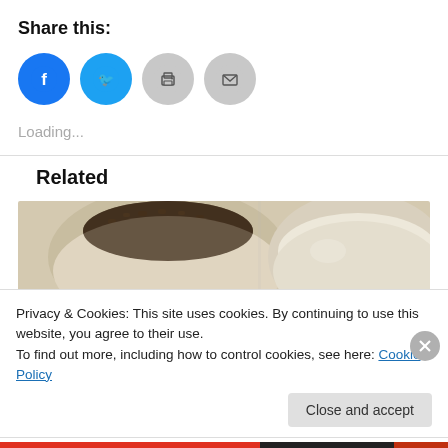Share this:
[Figure (infographic): Four social share buttons: Facebook (blue circle), Twitter (light blue circle), Print (grey circle with printer icon), Email (grey circle with envelope icon)]
Loading...
[Figure (photo): Photo of two ceramic bowls, one containing granola or cereal and one empty, blurred background]
Related
Privacy & Cookies: This site uses cookies. By continuing to use this website, you agree to their use.
To find out more, including how to control cookies, see here: Cookie Policy